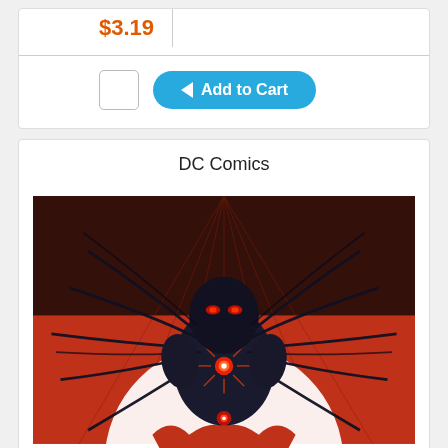$3.19
Add to Cart
DC Comics
[Figure (illustration): DC Comics comic book cover featuring a dark armored figure with red glowing eyes and chest symbol, viewed from below, with black tendrils/wires spreading outward against a red background, with a large white bat symbol at the bottom.]